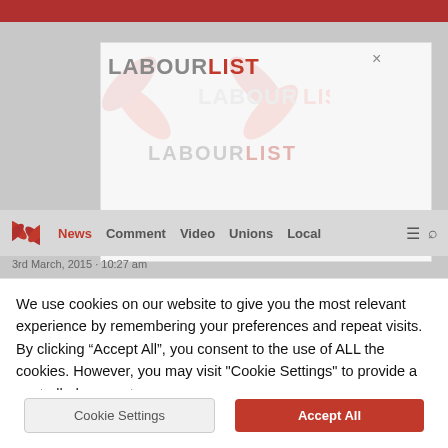[Figure (screenshot): LabourList website screenshot showing the site header with red top bar, the LabourList logo (crossed safety pins forming an X shape), navigation menu with News, Comment, Video, Unions, Local links, and a semi-transparent popup overlay also showing the LabourList logo and wordmark]
3rd March, 2015 · 10:27 am
We use cookies on our website to give you the most relevant experience by remembering your preferences and repeat visits. By clicking “Accept All”, you consent to the use of ALL the cookies. However, you may visit "Cookie Settings" to provide a controlled consent.
Cookie Settings
Accept All